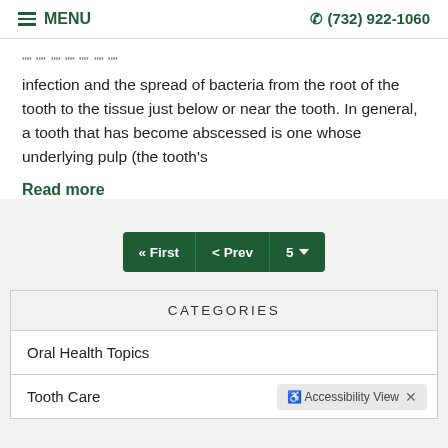MENU | (732) 922-1060
infection and the spread of bacteria from the root of the tooth to the tissue just below or near the tooth. In general, a tooth that has become abscessed is one whose underlying pulp (the tooth's
Read more
[Figure (other): Pagination control with First, Prev, and page number 5 with dropdown]
| CATEGORIES |
| --- |
| Oral Health Topics |
| Tooth Care |
[Figure (other): Accessibility View popup with X close button]